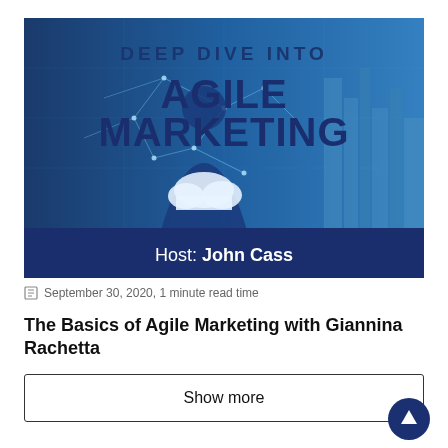[Figure (illustration): Podcast/webinar banner image with dark blue background showing a silhouette of a person overlaid with digital network lines and a cloud icon. Large bold text reads 'DEEP DIVE INTO AGILE MARKETING' and a dark blue bar at the bottom reads 'Host: John Cass']
September 30, 2020, 1 minute read time
The Basics of Agile Marketing with Giannina Rachetta
Show more